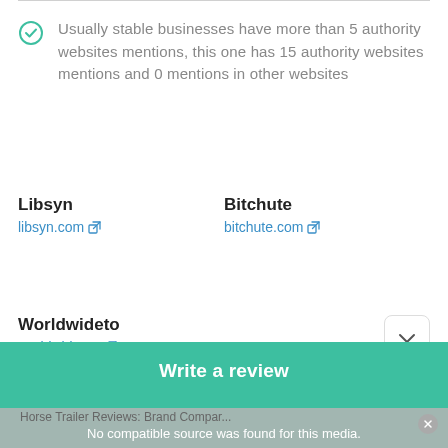Usually stable businesses have more than 5 authority websites mentions, this one has 15 authority websites mentions and 0 mentions in other websites
Libsyn
libsyn.com
Bitchute
bitchute.com
Worldwideto
worldwidetop
Refresh
LAST UPDATE: 2021-07-16 07:59
Write a review
Horse Trailer Reviews: Brand Compar...
No compatible source was found for this media.